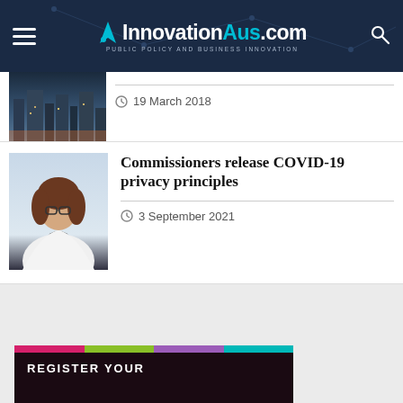InnovationAus.com — PUBLIC POLICY AND BUSINESS INNOVATION
[Figure (photo): Cityscape photo thumbnail]
19 March 2018
[Figure (photo): Portrait photo of a woman with glasses in a white jacket]
Commissioners release COVID-19 privacy principles
3 September 2021
[Figure (photo): Event registration banner with colorful top bar reading REGISTER YOUR]